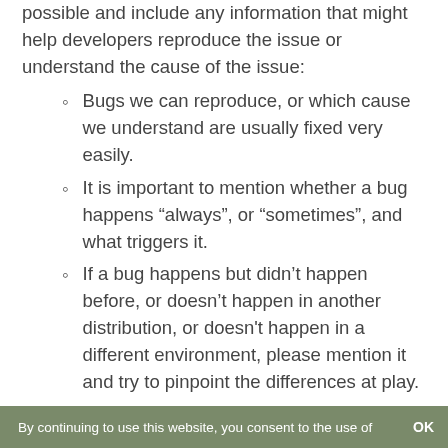possible and include any information that might help developers reproduce the issue or understand the cause of the issue:
Bugs we can reproduce, or which cause we understand are usually fixed very easily.
It is important to mention whether a bug happens “always”, or “sometimes”, and what triggers it.
If a bug happens but didn’t happen before, or doesn’t happen in another distribution, or doesn't happen in a different environment, please mention it and try to pinpoint the differences at play.
If we can’t reproduce a particular bug and we don’t understand its cause, it’s unlikely we’ll be able to fix it.
Please visit
By continuing to use this website, you consent to the use of   OK